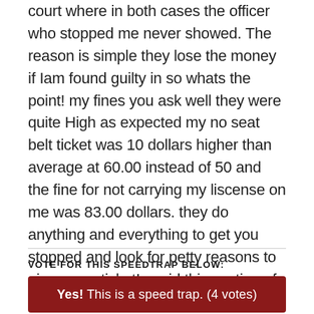court where in both cases the officer who stopped me never showed. The reason is simple they lose the money if Iam found guilty in so whats the point! my fines you ask well they were quite High as expected my no seat belt ticket was 10 dollars higher than average at 60.00 instead of 50 and the fine for not carrying my liscense on me was 83.00 dollars. they do anything and everything to get you stopped and look for petty reasons to give you a ticket! avoid this section of Columbus if at all possible they will be waiting for you, so Beware!!!!!
VOTE FOR THIS SPEEDTRAP BELOW:
Yes! This is a speed trap. (4 votes)